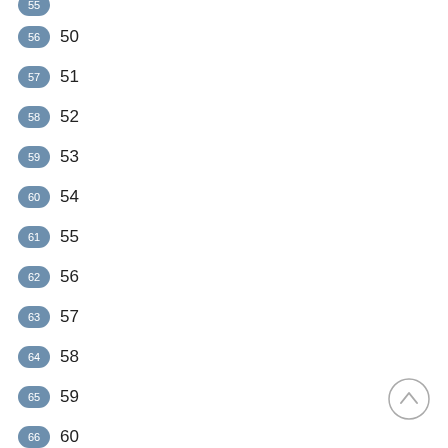56  50
57  51
58  52
59  53
60  54
61  55
62  56
63  57
64  58
65  59
66  60
[Figure (other): Scroll-up navigation button (circle with upward chevron)]